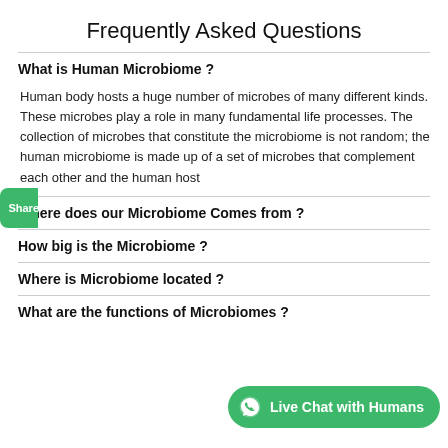Frequently Asked Questions
What is Human Microbiome ?
Human body hosts a huge number of microbes of many different kinds. These microbes play a role in many fundamental life processes. The collection of microbes that constitute the microbiome is not random; the human microbiome is made up of a set of microbes that complement each other and the human host
Where does our Microbiome Comes from ?
How big is the Microbiome ?
Where is Microbiome located ?
What are the functions of Microbiomes ?